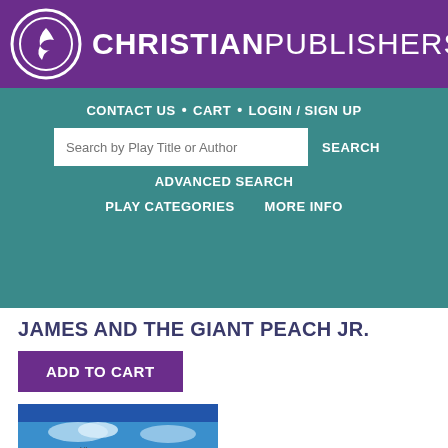[Figure (logo): Christian Publishers logo with circular dove icon and text CHRISTIAN PUBLISHERS on purple banner]
CONTACT US • CART • LOGIN / SIGN UP
Search by Play Title or Author
SEARCH
ADVANCED SEARCH
PLAY CATEGORIES   MORE INFO
JAMES AND THE GIANT PEACH JR.
ADD TO CART
[Figure (photo): Book cover image for James and the Giant Peach Jr. showing colorful illustrated title text with a peach graphic on a blue ocean background]